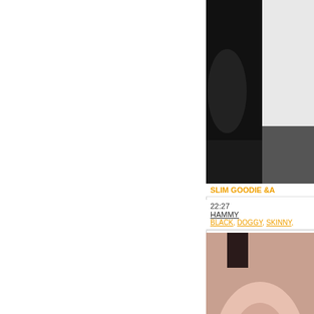[Figure (screenshot): Video thumbnail 1: dark toned image, partial view]
SLIM GOODIE &A...
22:27
HAMMY
BLACK, DOGGY, SKINNY,
[Figure (screenshot): Video thumbnail 2: close-up image]
REAL ORGASM ...D...
0:37
HAMMY
BUSTY, CUNT, DOGGY,
[Figure (screenshot): Video thumbnail 3: partial view at bottom]